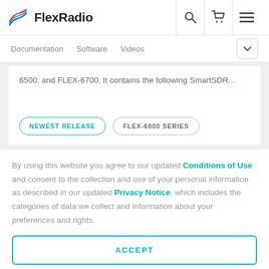[Figure (logo): FlexRadio logo with stylized wave icon in red, blue, and teal colors, followed by bold text 'FlexRadio']
Documentation   Software   Videos
6500, and FLEX-6700. It contains the following SmartSDR...
NEWEST RELEASE   FLEX-6000 SERIES
By using this website you agree to our updated Conditions of Use and consent to the collection and use of your personal information as described in our updated Privacy Notice, which includes the categories of data we collect and information about your preferences and rights.
ACCEPT